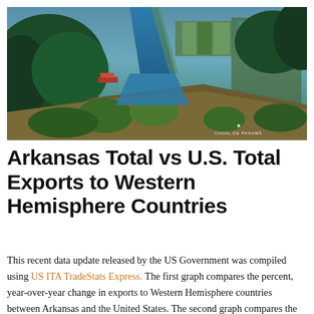[Figure (photo): Aerial photograph of the Panama Canal showing waterways, locks, and surrounding tropical landscape with the Canal de Panama watermark in the lower right corner.]
Arkansas Total vs U.S. Total Exports to Western Hemisphere Countries
This recent data update released by the US Government was compiled using US ITA TradeStats Express. The first graph compares the percent, year-over-year change in exports to Western Hemisphere countries between Arkansas and the United States. The second graph compares the percent of total exports to Western